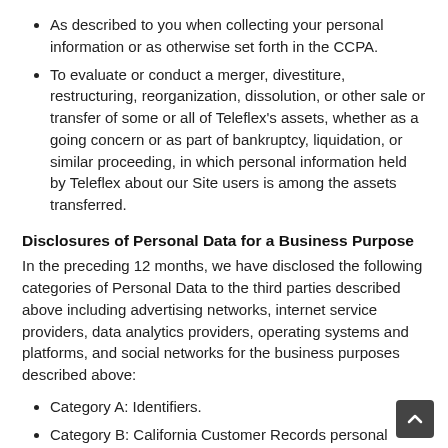As described to you when collecting your personal information or as otherwise set forth in the CCPA.
To evaluate or conduct a merger, divestiture, restructuring, reorganization, dissolution, or other sale or transfer of some or all of Teleflex's assets, whether as a going concern or as part of bankruptcy, liquidation, or similar proceeding, in which personal information held by Teleflex about our Site users is among the assets transferred.
Disclosures of Personal Data for a Business Purpose
In the preceding 12 months, we have disclosed the following categories of Personal Data to the third parties described above including advertising networks, internet service providers, data analytics providers, operating systems and platforms, and social networks for the business purposes described above:
Category A: Identifiers.
Category B: California Customer Records personal